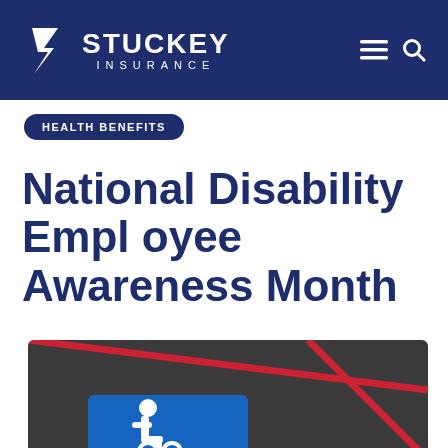Stuckey Insurance
HEALTH BENEFITS
National Disability Employee Awareness Month
[Figure (photo): Photograph of a handicap accessibility parking space painted in blue on asphalt, with red lines visible, viewed from above at an angle]